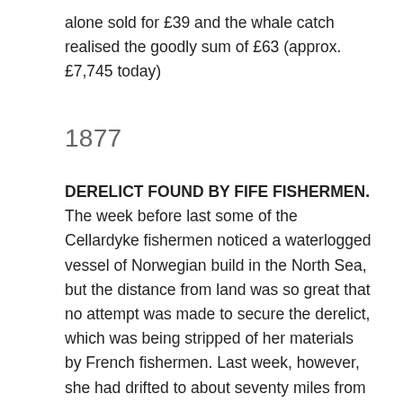alone sold for £39 and the whale catch realised the goodly sum of £63 (approx. £7,745 today)
1877
DERELICT FOUND BY FIFE FISHERMEN. The week before last some of the Cellardyke fishermen noticed a waterlogged vessel of Norwegian build in the North Sea, but the distance from land was so great that no attempt was made to secure the derelict, which was being stripped of her materials by French fishermen. Last week, however, she had drifted to about seventy miles from the May Island, the crews of two of the boats took her tow, and succeeded bringing her into Anstruther harbour on Friday. The schooner herself is only fit for breaking up, but she has a large and valuable cargo of fir staves, which are being landed for the purpose of being sold by public roup. As the owners of the derelict in an early day she was